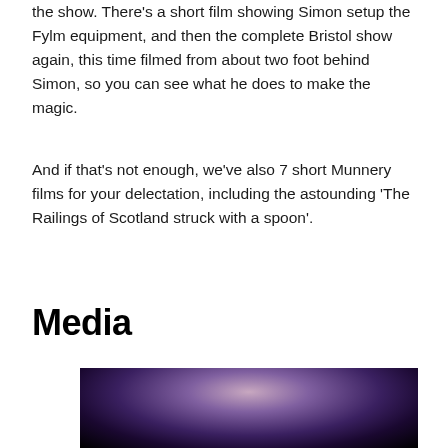the show. There's a short film showing Simon setup the Fylm equipment, and then the complete Bristol show again, this time filmed from about two foot behind Simon, so you can see what he does to make the magic.
And if that's not enough, we've also 7 short Munnery films for your delectation, including the astounding 'The Railings of Scotland struck with a spoon'.
Media
[Figure (photo): Close-up photograph of a person's face from above, dimly lit with purple/pink tones, mostly dark background]